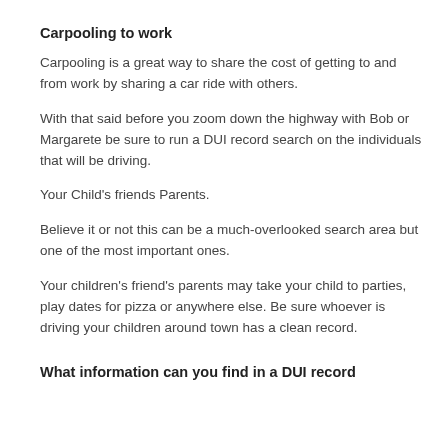Carpooling to work
Carpooling is a great way to share the cost of getting to and from work by sharing a car ride with others.
With that said before you zoom down the highway with Bob or Margarete be sure to run a DUI record search on the individuals that will be driving.
Your Child's friends Parents.
Believe it or not this can be a much-overlooked search area but one of the most important ones.
Your children's friend's parents may take your child to parties, play dates for pizza or anywhere else. Be sure whoever is driving your children around town has a clean record.
What information can you find in a DUI record